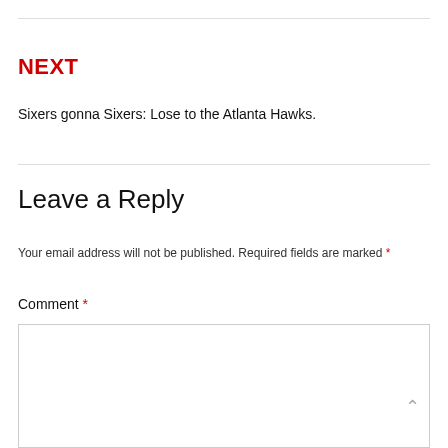NEXT
Sixers gonna Sixers: Lose to the Atlanta Hawks.
Leave a Reply
Your email address will not be published. Required fields are marked *
Comment *